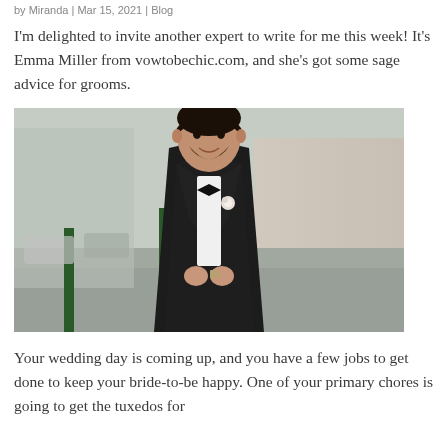by Miranda | Mar 15, 2021 | Blog
I'm delighted to invite another expert to write for me this week! It's Emma Miller from vowtobechic.com, and she's got some sage advice for grooms.
[Figure (photo): A groom in a black tuxedo with bow tie and boutonniere, standing on a street, adjusting his jacket buttons, smiling.]
Your wedding day is coming up, and you have a few jobs to get done to keep your bride-to-be happy. One of your primary chores is going to get the tuxedos for